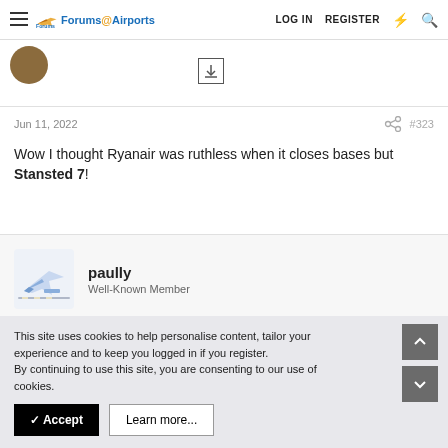Forums@Airports  LOG IN  REGISTER
Jun 11, 2022  #323
Wow I thought Ryanair was ruthless when it closes bases but Stansted 7!
paully
Well-Known Member
This site uses cookies to help personalise content, tailor your experience and to keep you logged in if you register.
By continuing to use this site, you are consenting to our use of cookies.
✓ Accept   Learn more...